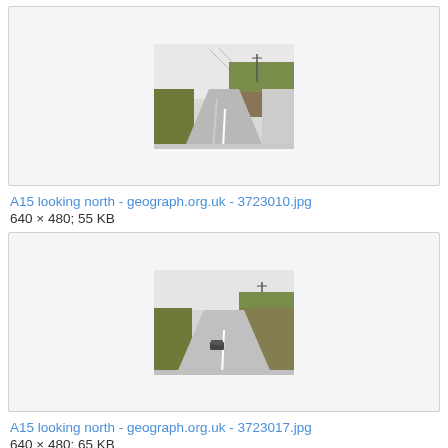[Figure (photo): Thumbnail of A15 road looking north, showing a dual carriageway with embankments and vegetation, overhead gantry visible, overcast sky.]
A15 looking north - geograph.org.uk - 3723010.jpg
640 × 480; 55 KB
[Figure (photo): Thumbnail of A15 road looking north, showing a dual carriageway with a car on the road, grassy embankments on both sides, mast visible in background, overcast sky.]
A15 looking north - geograph.org.uk - 3723017.jpg
640 × 480; 65 KB